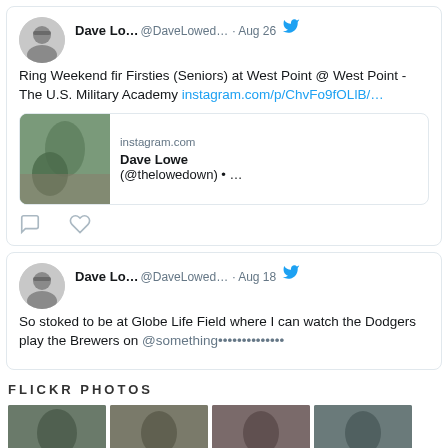[Figure (screenshot): Twitter/social media feed showing two tweets by Dave Lo... (@DaveLowed...) and a Flickr Photos section with 4 photo thumbnails. First tweet dated Aug 26 about Ring Weekend for Firsties (Seniors) at West Point with Instagram link and embedded Instagram card showing Dave Lowe (@thelowedown). Second tweet dated Aug 18 about Globe Life Field watching Dodgers play Brewers. Below is a FLICKR PHOTOS section header with 4 thumbnail photos.]